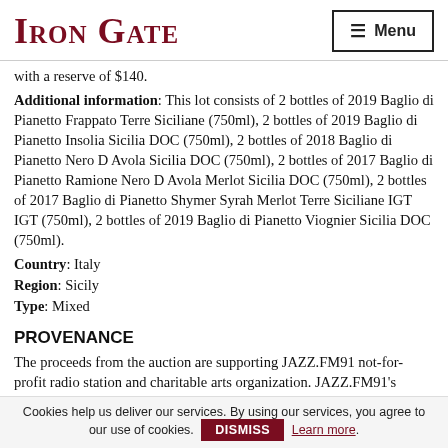IRON GATE
with a reserve of $140.
Additional information: This lot consists of 2 bottles of 2019 Baglio di Pianetto Frappato Terre Siciliane (750ml), 2 bottles of 2019 Baglio di Pianetto Insolia Sicilia DOC (750ml), 2 bottles of 2018 Baglio di Pianetto Nero D Avola Sicilia DOC (750ml), 2 bottles of 2017 Baglio di Pianetto Ramione Nero D Avola Merlot Sicilia DOC (750ml), 2 bottles of 2017 Baglio di Pianetto Shymer Syrah Merlot Terre Siciliane IGT IGT (750ml), 2 bottles of 2019 Baglio di Pianetto Viognier Sicilia DOC (750ml).
Country: Italy
Region: Sicily
Type: Mixed
PROVENANCE
The proceeds from the auction are supporting JAZZ.FM91 not-for-profit radio station and charitable arts organization. JAZZ.FM91's community programs provide music education and instruments for children and youth, scholarships for emerging artists, music therapy at St. Michael's Hospital, and more. Il the lots from the JAZZ.FM91 auction can be picked up from the Iron Gate office in Leaside. You will receive an email after the
Cookies help us deliver our services. By using our services, you agree to our use of cookies. DISMISS Learn more.